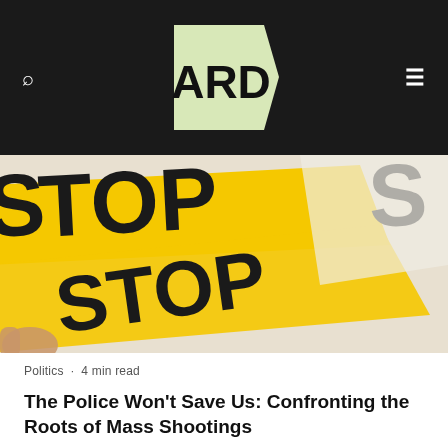[Figure (logo): ARD logo — light green pentagon/arrow shape with bold black text 'ARD' inside, on a dark background with search icon left and hamburger menu icon right]
[Figure (photo): Close-up photo of yellow police/crime scene tape with bold black letters reading 'STOP', partially overlapping, held by a hand visible at the edge]
Politics · 4 min read
The Police Won't Save Us: Confronting the Roots of Mass Shootings